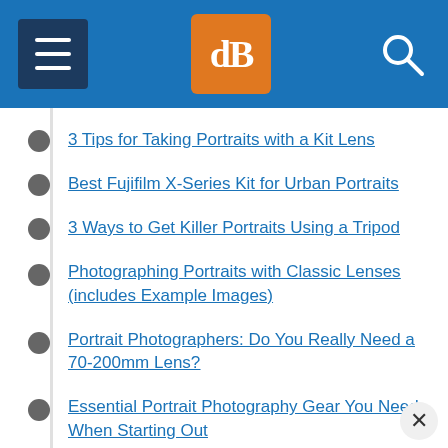dPS navigation header
3 Tips for Taking Portraits with a Kit Lens
Best Fujifilm X-Series Kit for Urban Portraits
3 Ways to Get Killer Portraits Using a Tripod
Photographing Portraits with Classic Lenses (includes Example Images)
Portrait Photographers: Do You Really Need a 70-200mm Lens?
Essential Portrait Photography Gear You Need When Starting Out
Portable Portrait Studio in a Bag: Now You